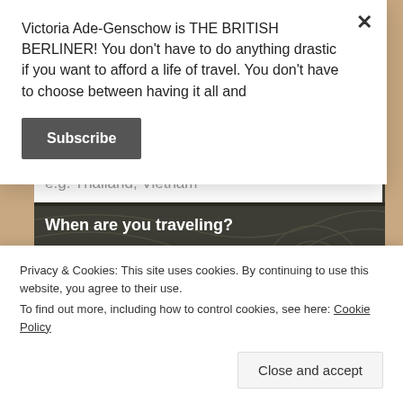Victoria Ade-Genschow is THE BRITISH BERLINER! You don't have to do anything drastic if you want to afford a life of travel. You don't have to choose between having it all and
Subscribe
e.g. Thailand, Vietnam
When are you traveling?
Privacy & Cookies: This site uses cookies. By continuing to use this website, you agree to their use.
To find out more, including how to control cookies, see here: Cookie Policy
Close and accept